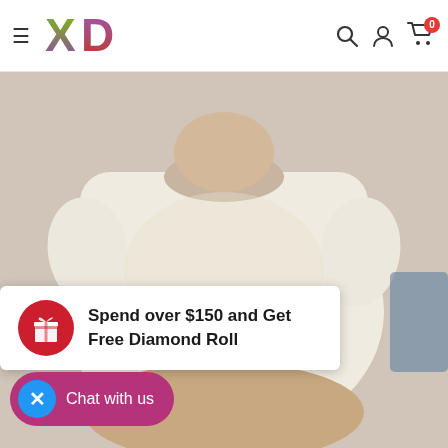[Figure (logo): XD logo with colorful X and D letters]
[Figure (photo): Person wearing a white fitted t-shirt, product photo]
Spend over $150 and Get Free Diamond Roll
Chat with us